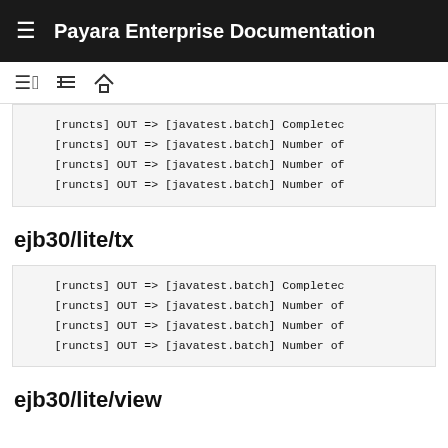Payara Enterprise Documentation
[runcts] OUT => [javatest.batch] Completed
[runcts] OUT => [javatest.batch] Number of
[runcts] OUT => [javatest.batch] Number of
[runcts] OUT => [javatest.batch] Number of
ejb30/lite/tx
[runcts] OUT => [javatest.batch] Completed
[runcts] OUT => [javatest.batch] Number of
[runcts] OUT => [javatest.batch] Number of
[runcts] OUT => [javatest.batch] Number of
ejb30/lite/view